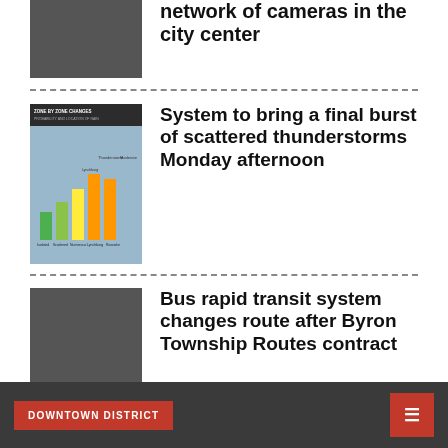network of cameras in the city center
[Figure (photo): Dark gray thumbnail image for cameras in city center article]
System to bring a final burst of scattered thunderstorms Monday afternoon
[Figure (bar-chart): Zone by zone changes weather bar chart thumbnail showing colored bars (green, yellow, orange) for different zones]
Bus rapid transit system changes route after Byron Township Routes contract
[Figure (photo): Dark gray thumbnail image for bus rapid transit article]
DOWNTOWN DISTRICT